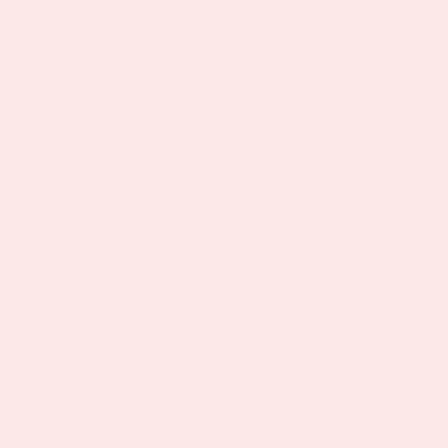Tmi (Songs) - [191 words]
To Be Fair (Poetry) - [142 words]
To Go To Stay (Songs) To Go/To Stay was a radio show. [204 words]
To Heal (Songs) - [93 words]
To Just Sit Back (Poetry) To Just Sit Back Baltimore in the aftermath of the Freddie
To See Her With Him (Songs) - [215 words]
To The Man Who Has Everything (Songs) by the breakup of Kenneth Babyface Edm
To What Levels Of Low? (Songs) To Wha day Newark murders of a 13 year old girl
Toastmaster (Poetry) - [122 words]
Today Is Your Blessin' (Songs) - [268 words]
Today'S Politics (Songs) Today's Politics [248 words]
Together (Forever) (Songs) - [181 words]
Tongue-Tied (Songs) - [229 words]
Tonight'S A Special Night (Songs) - [332 words]
Too Bad My Friend (Songs) Too Bad My feud and was written in Madonna's voice [165 words]
Too Blind To See (What You Meant To Me) dissolution of an r&b singer's marriage. [4
Too Cute By Half (Poetry) - [118 words]
Too Deep In Debt? (Songs) Too Deep In